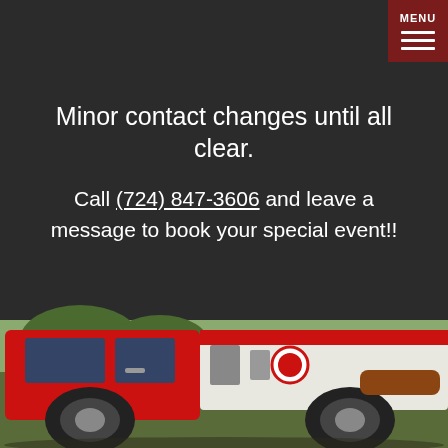MENU
Minor contact changes until all clear.
Call (724) 847-3606 and leave a message to book your special event!!
Facebook timeline
Apparatus gallery
[Figure (photo): Red fire truck / apparatus vehicle parked outdoors on green grass, side view showing red cab and white tank body with equipment.]